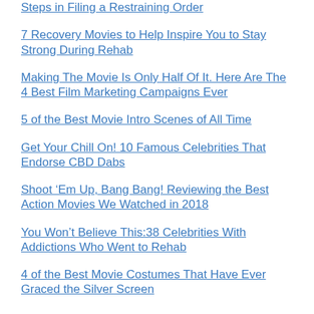Steps in Filing a Restraining Order
7 Recovery Movies to Help Inspire You to Stay Strong During Rehab
Making The Movie Is Only Half Of It. Here Are The 4 Best Film Marketing Campaigns Ever
5 of the Best Movie Intro Scenes of All Time
Get Your Chill On! 10 Famous Celebrities That Endorse CBD Dabs
Shoot ‘Em Up, Bang Bang! Reviewing the Best Action Movies We Watched in 2018
You Won’t Believe This:38 Celebrities With Addictions Who Went to Rehab
4 of the Best Movie Costumes That Have Ever Graced the Silver Screen